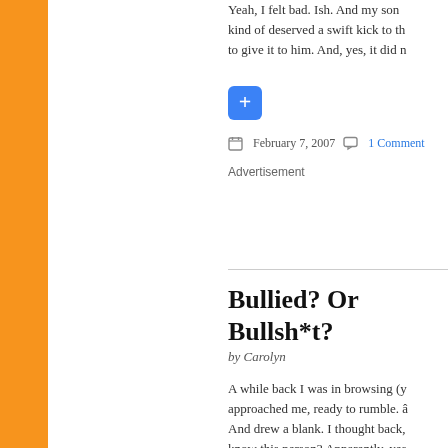Yeah, I felt bad. Ish. And my son kind of deserved a swift kick to th... to give it to him. And, yes, it did n...
February 7, 2007   1 Comment
Advertisement
Bullied? Or Bullsh*t?
by Carolyn
A while back I was in browsing (y... approached me, ready to rumble. â... And drew a blank. I thought back,... know this person? Apparently, yes... togetherâ€ she said and after a str... off. I chalked it up to personal issu... name? How did I know her? Whic...